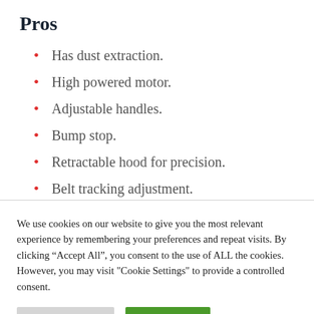Pros
Has dust extraction.
High powered motor.
Adjustable handles.
Bump stop.
Retractable hood for precision.
Belt tracking adjustment.
We use cookies on our website to give you the most relevant experience by remembering your preferences and repeat visits. By clicking “Accept All”, you consent to the use of ALL the cookies. However, you may visit "Cookie Settings" to provide a controlled consent.